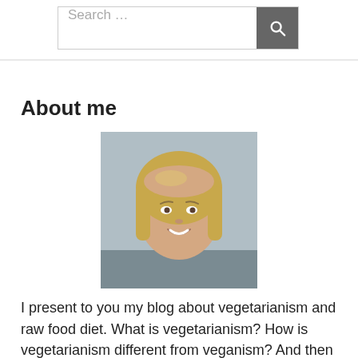[Figure (other): Search bar with text input field showing placeholder 'Search ...' and a dark grey search button with magnifying glass icon]
About me
[Figure (photo): Portrait photo of a smiling middle-aged blonde woman against a light blue/grey background]
I present to you my blog about vegetarianism and raw food diet. What is vegetarianism? How is vegetarianism different from veganism? And then there is lacto-vegetarianism, when you can eat milk and dairy products. I personally gave up meat and fish, but I did not completely...